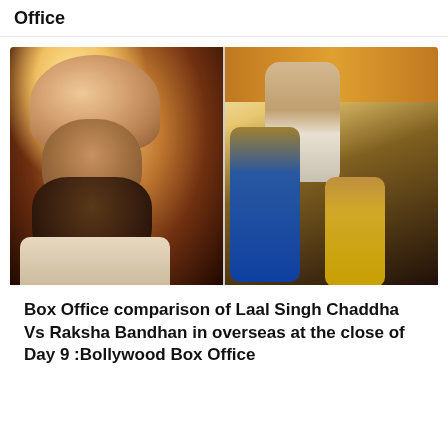Office
[Figure (photo): Left: A man with a large beard wearing a peach/pink turban, smiling. Right: A man with a mustache in a light-colored kurta with two women in traditional Indian attire, at a decorated festive setting.]
Box Office comparison of Laal Singh Chaddha Vs Raksha Bandhan in overseas at the close of Day 9 :Bollywood Box Office